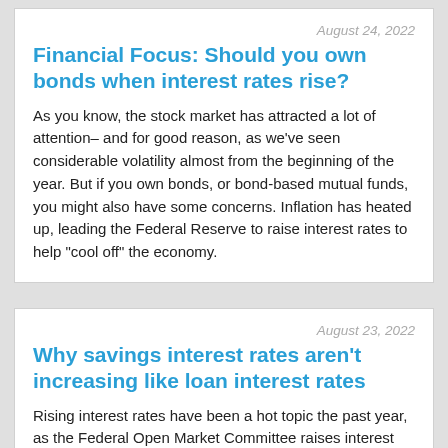August 24, 2022
Financial Focus: Should you own bonds when interest rates rise?
As you know, the stock market has attracted a lot of attention– and for good reason, as we've seen considerable volatility almost from the beginning of the year. But if you own bonds, or bond-based mutual funds, you might also have some concerns. Inflation has heated up, leading the Federal Reserve to raise interest rates to help "cool off" the economy.
August 23, 2022
Why savings interest rates aren't increasing like loan interest rates
Rising interest rates have been a hot topic the past year, as the Federal Open Market Committee raises interest rates for the Federal Reserve system, the central bank of the United States. Jon Stewart, Retail Team Leader, Coastal Community Bank, said